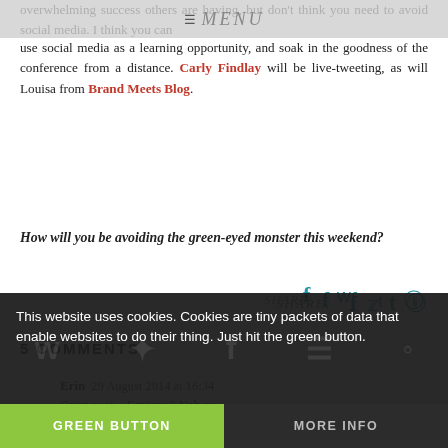☰ MENU
overwhelming success others are having, but don't think you need to avoid social media. I think you can use social media as a learning opportunity, and soak in the goodness of the conference from a distance. Carly Findlay will be live-tweeting, as will Louisa from Brand Meets Blog.
How will you be avoiding the green-eyed monster this weekend?
SHARE: [social icons]
5 COMMENTS
Erin  29 August 2014 at 16:34
Great post... Envious? Nah xo
Reply
This website uses cookies. Cookies are tiny packets of data that enable websites to do their thing. Just hit the green button.
GREEN BUTTON
MORE INFO